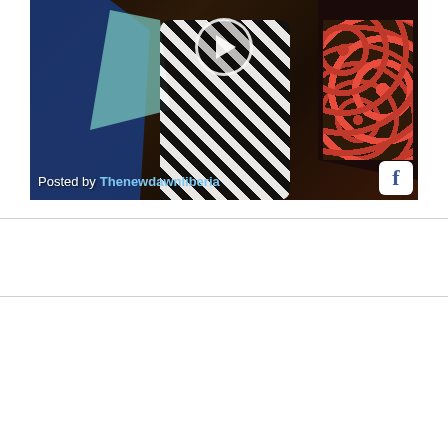[Figure (screenshot): Facebook video embed showing people at an event. A play button circle is visible at top center. Text at bottom reads 'Posted by Thenewdawnliberia' with a Facebook icon in the bottom right corner.]
[Figure (logo): Partial logo of 'The New Dawn' Liberia newspaper, showing the letter N in blue and D in yellow with 'The' text in between, flanked by two gray rectangular image placeholders.]